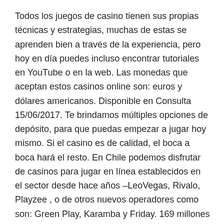Todos los juegos de casino tienen sus propias técnicas y estrategias, muchas de estas se aprenden bien a través de la experiencia, pero hoy en día puedes incluso encontrar tutoriales en YouTube o en la web. Las monedas que aceptan estos casinos online son: euros y dólares americanos. Disponible en Consulta 15/06/2017. Te brindamos múltiples opciones de depósito, para que puedas empezar a jugar hoy mismo. Si el casino es de calidad, el boca a boca hará el resto. En Chile podemos disfrutar de casinos para jugar en línea establecidos en el sector desde hace años –LeoVegas, Rivalo, Playzee , o de otros nuevos operadores como son: Green Play, Karamba y Friday. 169 millones en impuestos a las arcas del gobierno chileno. En los mejores casinos online se entregan automáticamente. Otras de las disciplinas de cartas más clásica y fascinante del universo. Cuanto al casino online, las tarjetas son uno de los métodos de pago más...